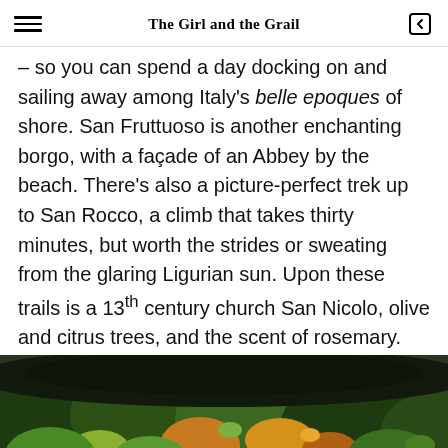The Girl and the Grail
– so you can spend a day docking on and sailing away among Italy's belle epoques of shore. San Fruttuoso is another enchanting borgo, with a façade of an Abbey by the beach. There's also a picture-perfect trek up to San Rocco, a climb that takes thirty minutes, but worth the strides or sweating from the glaring Ligurian sun. Upon these trails is a 13th century church San Nicolo, olive and citrus trees, and the scent of rosemary.
[Figure (photo): Aerial view of a dense forest canopy with green, orange and yellow foliage, taken from above in autumn light.]